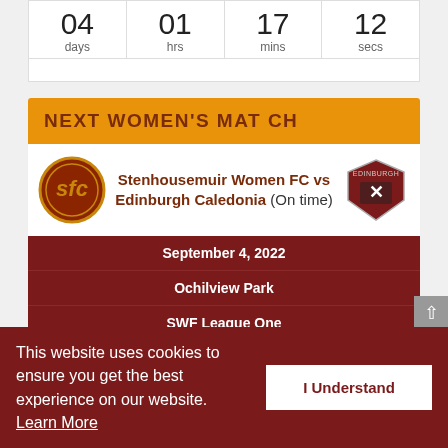04 days  01 hrs  17 mins  12 secs
NEXT WOMEN'S MATCH
Stenhousemuir Women FC vs Edinburgh Caledonia (On time)
September 4, 2022
Ochilview Park
SWF League One
05 days  00 hrs  47 mins  26 secs
This website uses cookies to ensure you get the best experience on our website. Learn More
I Understand